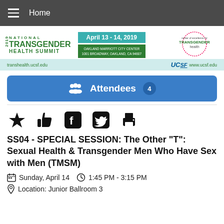Home
[Figure (logo): 2019 National Transgender Health Summit logo with date April 13-14, 2019, Oakland Marriott City Center, and UCSF Center of Excellence for Transgender Health logo]
transhealth.ucsf.edu   UCSF www.ucsf.edu
Attendees 4
[Figure (infographic): Row of social/action icons: star (favorite), thumbs up (like), Facebook, Twitter, print]
SS04 - SPECIAL SESSION: The Other "T": Sexual Health & Transgender Men Who Have Sex with Men (TMSM)
Sunday, April 14   1:45 PM - 3:15 PM
Location: Junior Ballroom 3